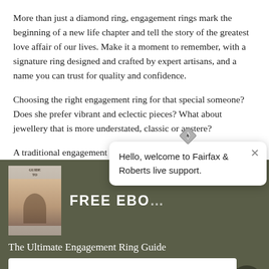More than just a diamond ring, engagement rings mark the beginning of a new life chapter and tell the story of the greatest love affair of our lives. Make it a moment to remember, with a signature ring designed and crafted by expert artisans, and a name you can trust for quality and confidence.
Choosing the right engagement ring for that special someone? Does she prefer vibrant and eclectic pieces? What about jewellery that is more understated, classic or austere?
A traditional engagement ring is set with diamonds on a gold or
[Figure (screenshot): Dark olive-green promotional banner showing a free ebook offer with a book cover image on the left, 'FREE EBO...' text, a guide title 'The Ultimate Engagement Ring Guide', and a 'DOWNLOAD NOW' button. A chat popup overlay from Fairfax & Roberts live support appears on the right side with a diamond cursor icon above it and a chat bubble icon in the bottom right.]
Hello, welcome to Fairfax & Roberts live support.
The Ultimate Engagement Ring Guide
DOWNLOAD NOW